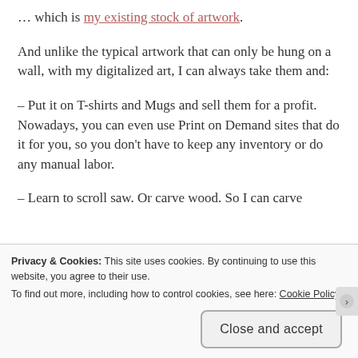… which is my existing stock of artwork.
And unlike the typical artwork that can only be hung on a wall, with my digitalized art, I can always take them and:
– Put it on T-shirts and Mugs and sell them for a profit. Nowadays, you can even use Print on Demand sites that do it for you, so you don't have to keep any inventory or do any manual labor.
– Learn to scroll saw. Or carve wood. So I can carve
Privacy & Cookies: This site uses cookies. By continuing to use this website, you agree to their use.
To find out more, including how to control cookies, see here: Cookie Policy
Close and accept